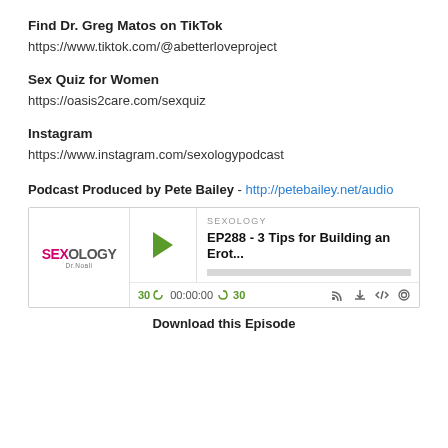Find Dr. Greg Matos on TikTok
https://www.tiktok.com/@abetterloveproject
Sex Quiz for Women
https://oasis2care.com/sexquiz
Instagram
https://www.instagram.com/sexologypodcast
Podcast Produced by Pete Bailey - http://petebailey.net/audio
[Figure (screenshot): Podcast player widget for SEXOLOGY EP288 - 3 Tips for Building an Erot... with play button, progress bar, time controls showing 30s back, 00:00:00, forward 30s, and icons for RSS, download, embed, and settings. Sexology logo with Dr. Noali shown on left.]
Download this Episode